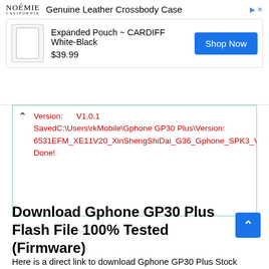[Figure (other): Advertisement banner for NOEMIE Genuine Leather Crossbody Case showing product 'Expanded Pouch ~ CARDIFF White-Black' priced at $39.99 with a Shop Now button]
Version:      V1.0.1
SavedC:\Users\rkMobile\Gphone GP30 Plus\Version: 6531EFM_XE11V20_XinShengShiDai_G36_Gphone_SPK3_V01_20211023.bin
Done!
Download Gphone GP30 Plus Flash File 100% Tested (Firmware)
Here is a direct link to download Gphone GP30 Plus Stock